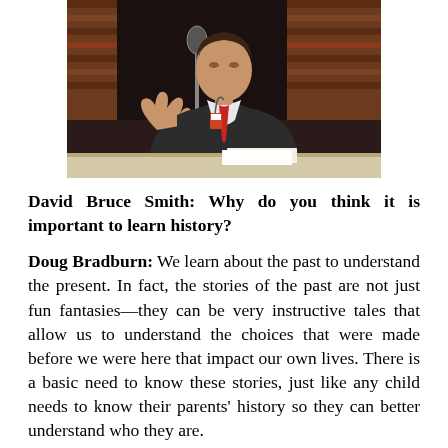[Figure (photo): A man in a dark suit with a striped tie gesturing at a microphone, seated at what appears to be a hearing or panel discussion. Bookshelves visible in the background.]
David Bruce Smith: Why do you think it is important to learn history?
Doug Bradburn: We learn about the past to understand the present. In fact, the stories of the past are not just fun fantasies—they can be very instructive tales that allow us to understand the choices that were made before we were here that impact our own lives. There is a basic need to know these stories, just like any child needs to know their parents' history so they can better understand who they are.